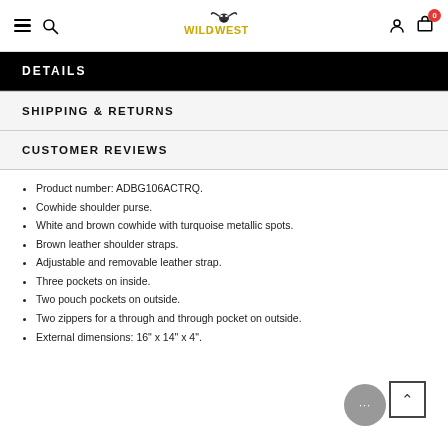Wild West — navigation header with hamburger, search, logo, user, and cart icons
DETAILS
SHIPPING & RETURNS
CUSTOMER REVIEWS
Product number: ADBG106ACTRQ.
Cowhide shoulder purse.
White and brown cowhide with turquoise metallic spots.
Brown leather shoulder straps.
Adjustable and removable leather strap.
Three pockets on inside.
Two pouch pockets on outside.
Two zippers for a through and through pocket on outside.
External dimensions: 16" x 14" x 4".